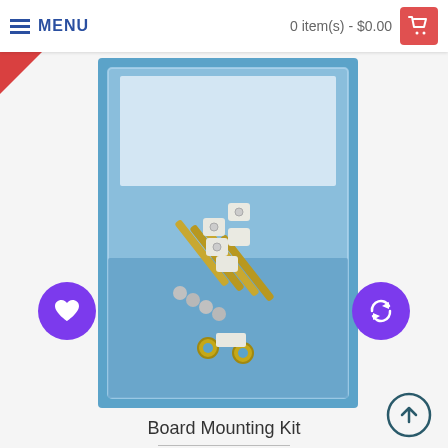MENU  |  0 item(s) - $0.00
[Figure (photo): Product photo: a clear plastic bag containing gold/brass screws and white plastic spacers/standoffs for a board mounting kit, displayed on a blue background.]
Board Mounting Kit
$3.00